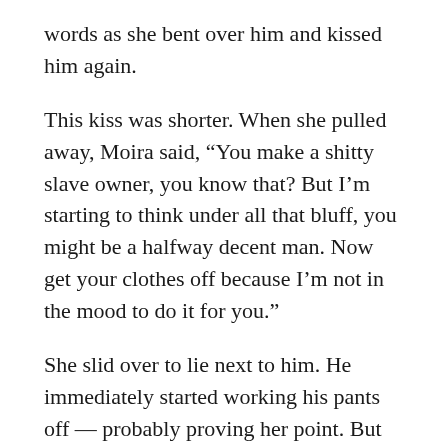words as she bent over him and kissed him again.
This kiss was shorter. When she pulled away, Moira said, “You make a shitty slave owner, you know that? But I’m starting to think under all that bluff, you might be a halfway decent man. Now get your clothes off because I’m not in the mood to do it for you.”
She slid over to lie next to him. He immediately started working his pants off — probably proving her point. But hell, ‘shitty slave owner’ wasn’t exactly an insult when you came down to it.